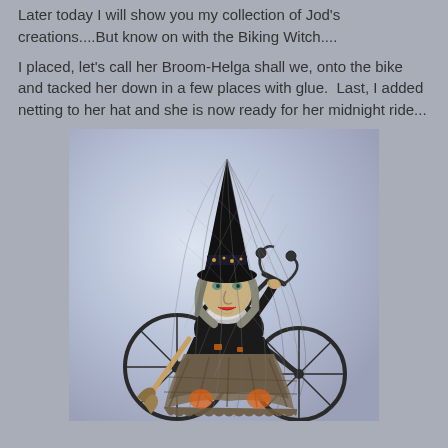Later today I will show you my collection of Jod's creations....But know on with the Biking Witch....
I placed, let's call her Broom-Helga shall we, onto the bike and tacked her down in a few places with glue.  Last, I added netting to her hat and she is now ready for her midnight ride...
[Figure (photo): A handmade witch doll dressed in black with a tall pointed hat covered in grey netting/veil, riding a decorative metal bicycle. The witch doll has a painted face, grey hair, a black dress, and a plaid skirt. The bicycle has ornate metal handlebars. The background is a light purple-grey gradient.]